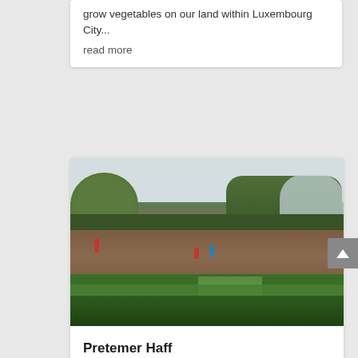grow vegetables on our land within Luxembourg City...
read more
[Figure (photo): Aerial view of a farm field with workers tending rows of green crops (leeks, strawberries, vegetables), trees and a greenhouse in the background, overcast sky.]
Pretemer Haff
Greater Region, Luxembourg
We are working in a reasonned farming approach :